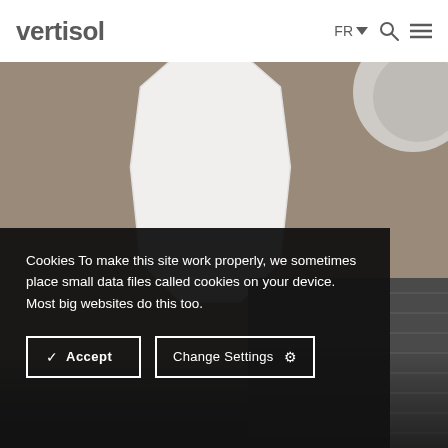vertisol — FR (navigation with search and menu icons)
[Figure (photo): A decorative overhead view of a white hexagonal/octagonal plate on a taupe textured surface, with a partial circular dish visible top-right and a dark fabric texture visible bottom-right.]
Cookies To make this site work properly, we sometimes place small data files called cookies on your device. Most big websites do this too.
✓ Accept    Change Settings ⚙